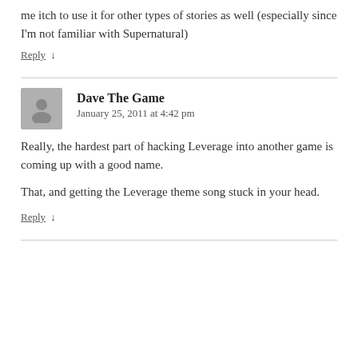me itch to use it for other types of stories as well (especially since I'm not familiar with Supernatural)
Reply ↓
Dave The Game
January 25, 2011 at 4:42 pm
Really, the hardest part of hacking Leverage into another game is coming up with a good name.
That, and getting the Leverage theme song stuck in your head.
Reply ↓